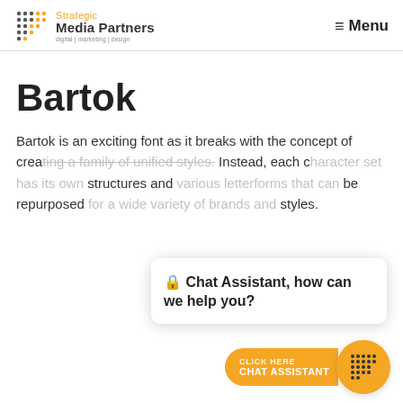Strategic Media Partners | digital | marketing | design | Menu
Bartok
Bartok is an exciting font as it breaks with the concept of creating a family of unified styles. Instead, each character set has its own structures and ... be repurposed for a wide variety of brands and styles.
🔒 Chat Assistant, how can we help you?
CLICK HERE
CHAT ASSISTANT